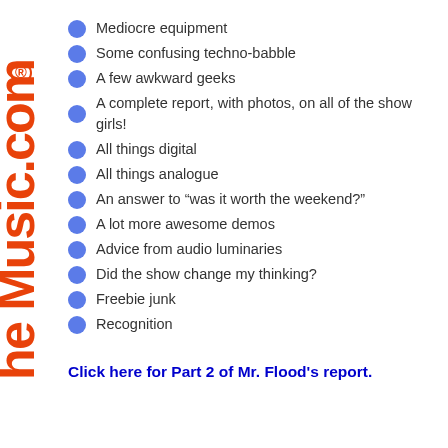[Figure (logo): Rotated orange logo text reading 'he Music.com' with registered trademark symbol]
Mediocre equipment
Some confusing techno-babble
A few awkward geeks
A complete report, with photos, on all of the show girls!
All things digital
All things analogue
An answer to “was it worth the weekend?”
A lot more awesome demos
Advice from audio luminaries
Did the show change my thinking?
Freebie junk
Recognition
Click here for Part 2 of Mr. Flood's report.